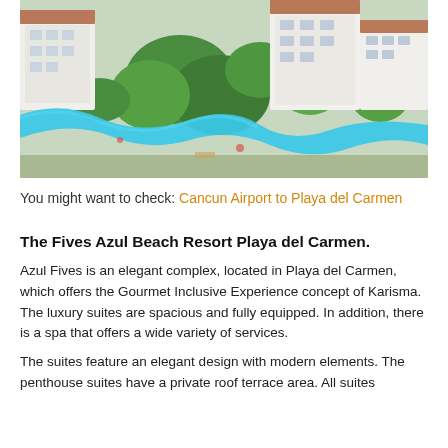[Figure (photo): Aerial view of The Fives Azul Beach Resort Playa del Carmen showing white buildings, a winding blue lazy river/pool, lush green trees, and tropical landscape]
You might want to check: Cancun Airport to Playa del Carmen
The Fives Azul Beach Resort Playa del Carmen.
Azul Fives is an elegant complex, located in Playa del Carmen, which offers the Gourmet Inclusive Experience concept of Karisma. The luxury suites are spacious and fully equipped. In addition, there is a spa that offers a wide variety of services.
The suites feature an elegant design with modern elements. The penthouse suites have a private roof terrace area. All suites